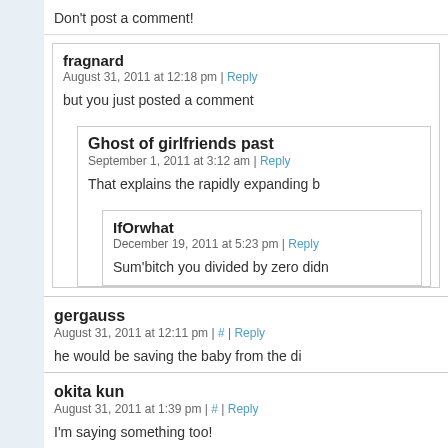Don't post a comment!
fragnard
August 31, 2011 at 12:18 pm | Reply

but you just posted a comment
Ghost of girlfriends past
September 1, 2011 at 3:12 am | Reply

That explains the rapidly expanding b
IfOrwhat
December 19, 2011 at 5:23 pm | Reply

Sum'bitch you divided by zero didn
gergauss
August 31, 2011 at 12:11 pm | # | Reply

he would be saving the baby from the di
okita kun
August 31, 2011 at 1:39 pm | # | Reply

I'm saying something too!